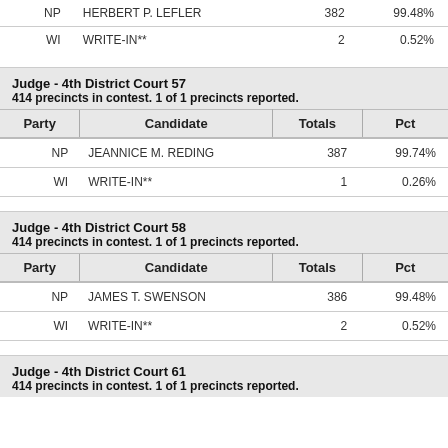| Party | Candidate | Totals | Pct |
| --- | --- | --- | --- |
| NP | HERBERT P. LEFLER | 382 | 99.48% |
| WI | WRITE-IN** | 2 | 0.52% |
Judge - 4th District Court 57
414 precincts in contest. 1 of 1 precincts reported.
| Party | Candidate | Totals | Pct |
| --- | --- | --- | --- |
| NP | JEANNICE M. REDING | 387 | 99.74% |
| WI | WRITE-IN** | 1 | 0.26% |
Judge - 4th District Court 58
414 precincts in contest. 1 of 1 precincts reported.
| Party | Candidate | Totals | Pct |
| --- | --- | --- | --- |
| NP | JAMES T. SWENSON | 386 | 99.48% |
| WI | WRITE-IN** | 2 | 0.52% |
Judge - 4th District Court 61
414 precincts in contest. 1 of 1 precincts reported.